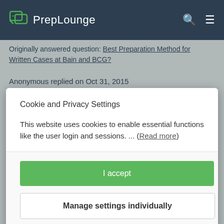PrepLounge
Originally answered question: Best Preparation Method for Written Cases at Bain and BCG?
Anonymous replied on Oct 31, 2015
Cookie and Privacy Settings
This website uses cookies to enable essential functions like the user login and sessions. ... (Read more)
I accept
Manage settings individually